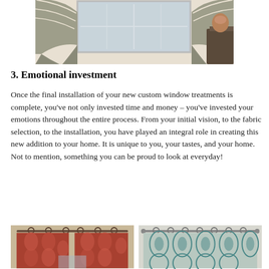[Figure (photo): Interior room photo showing a window with decorative patterned valance/swag curtains in beige and grey tones, with a side table visible on the right.]
3. Emotional investment
Once the final installation of your new custom window treatments is complete, you've not only invested time and money – you've invested your emotions throughout the entire process. From your initial vision, to the fabric selection, to the installation, you have played an integral role in creating this new addition to your home. It is unique to you, your tastes, and your home. Not to mention, something you can be proud to look at everyday!
[Figure (photo): Interior room photo showing red/rust patterned curtains hung with metal rings on a rod.]
[Figure (photo): Interior room photo showing teal and white geometric patterned curtains with metal rings on a decorative rod.]